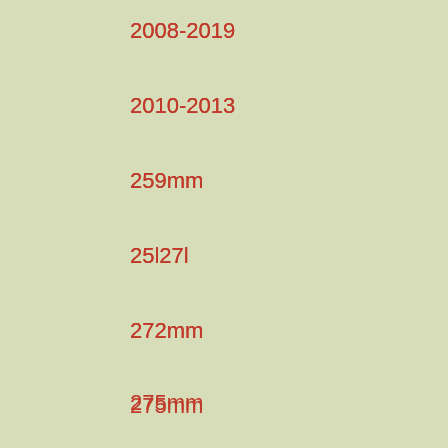2008-2019
2010-2013
259mm
25l27l
272mm
275mm
276mm
280mm
284mm
286mm
292mm
294mm
296mm
298mm